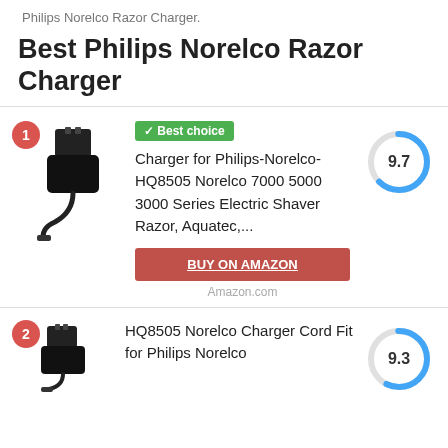Philips Norelco Razor Charger.
Best Philips Norelco Razor Charger
[Figure (photo): Product image of a black Philips Norelco razor charger adapter with cable]
✓ Best choice
Charger for Philips-Norelco-HQ8505 Norelco 7000 5000 3000 Series Electric Shaver Razor, Aquatec,...
[Figure (other): Circular score gauge showing 9.7 score with blue arc]
BUY ON AMAZON
Amazon.com
[Figure (photo): Product image of a black Norelco charger cord adapter]
HQ8505 Norelco Charger Cord Fit for Philips Norelco
[Figure (other): Circular score gauge showing 9.3 score with blue arc]